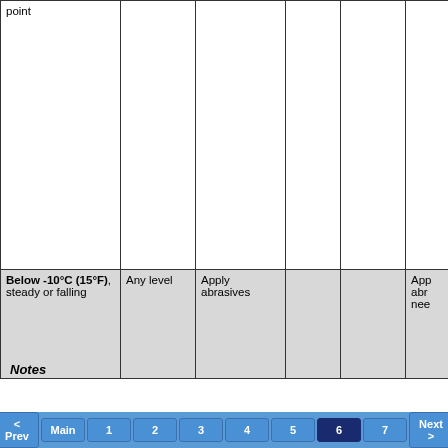| point |  |  |  |  |  |
| Below -10°C (15°F), steady or falling | Any level | Apply abrasives |  |  | App abr nee |
Notes
Top | < Prev | Main | 1 | 2 | 3 | 4 | 5 | 6 | 7 | Next > | >>